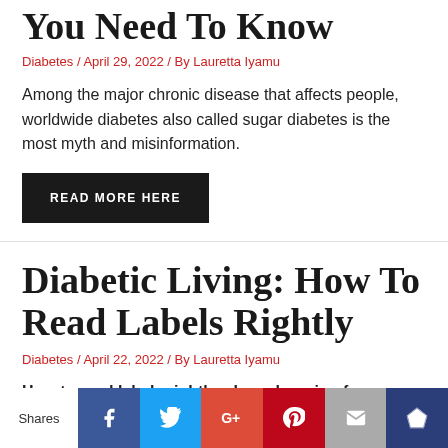You Need To Know
Diabetes / April 29, 2022 / By Lauretta Iyamu
Among the major chronic disease that affects people, worldwide diabetes also called sugar diabetes is the most myth and misinformation.
READ MORE HERE
Diabetic Living: How To Read Labels Rightly
Diabetes / April 22, 2022 / By Lauretta Iyamu
How to read labels rightly when shopping for groceries
Shares [Facebook] [Twitter] [Google+] [Pinterest] [Email] [Crown]